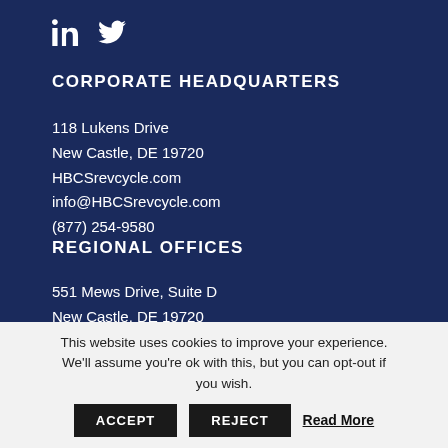[Figure (other): LinkedIn and Twitter social media icons in white on dark navy background]
CORPORATE HEADQUARTERS
118 Lukens Drive
New Castle, DE 19720
HBCSrevcycle.com
info@HBCSrevcycle.com
(877) 254-9580
REGIONAL OFFICES
551 Mews Drive, Suite D
New Castle, DE 19720
714 Delaware... (partial, clipped)
This website uses cookies to improve your experience. We'll assume you're ok with this, but you can opt-out if you wish.
ACCEPT   REJECT   Read More